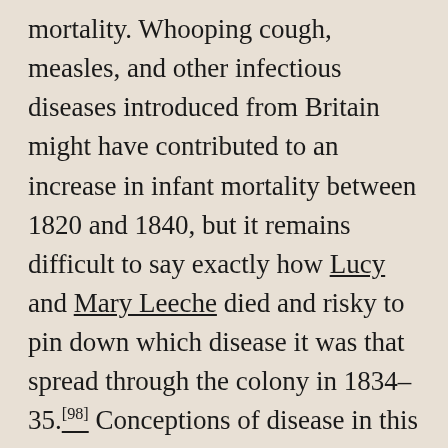mortality. Whooping cough, measles, and other infectious diseases introduced from Britain might have contributed to an increase in infant mortality between 1820 and 1840, but it remains difficult to say exactly how Lucy and Mary Leeche died and risky to pin down which disease it was that spread through the colony in 1834–35.[98] Conceptions of disease in this period were fluid and diagnosis a politically contested act. The absence of public health records also highlights how obscure the life and death of marginal people like Mary Leeche and the children of the Orphan School were, even in the eyes of the colonial state and society.